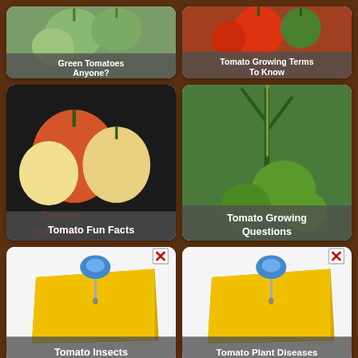[Figure (photo): Green tomatoes on vine, card labeled 'Green Tomatoes Anyone?']
[Figure (photo): Red and green tomatoes, card labeled 'Tomato Growing Terms To Know']
[Figure (photo): Mixed colored tomatoes on vine, card labeled 'Tomato Fun Facts']
[Figure (photo): Green tomatoes growing on plant, card labeled 'Tomato Growing Questions']
[Figure (illustration): Yellow sticky note with blue pushpin icon, card labeled 'Tomato Insects']
[Figure (illustration): Yellow sticky note with blue pushpin icon, card labeled 'Tomato Plant Diseases']